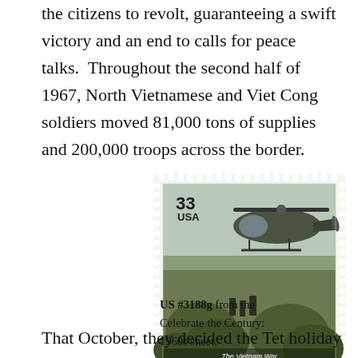the citizens to revolt, guaranteeing a swift victory and an end to calls for peace talks.  Throughout the second half of 1967, North Vietnamese and Viet Cong soldiers moved 81,000 tons of supplies and 200,000 troops across the border.
[Figure (photo): A US postage stamp, 33 cents, USA, depicting The Vietnam War — a military helicopter with soldiers in a jungle setting. Caption reads 'The Vietnam War' at bottom of stamp.]
US #3188g from the Celebrate the Century: 1960s sheet.
That October, they decided the Tet holiday would be